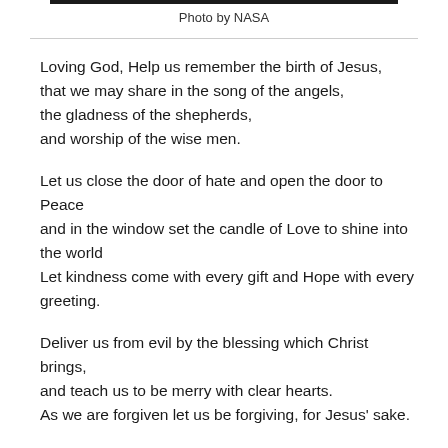Photo by NASA
Loving God, Help us remember the birth of Jesus,
that we may share in the song of the angels,
the gladness of the shepherds,
and worship of the wise men.
Let us close the door of hate and open the door to Peace
and in the window set the candle of Love to shine into the world
Let kindness come with every gift and Hope with every greeting.
Deliver us from evil by the blessing which Christ brings,
and teach us to be merry with clear hearts.
As we are forgiven let us be forgiving, for Jesus' sake.
May our Joy at the birth of Christ